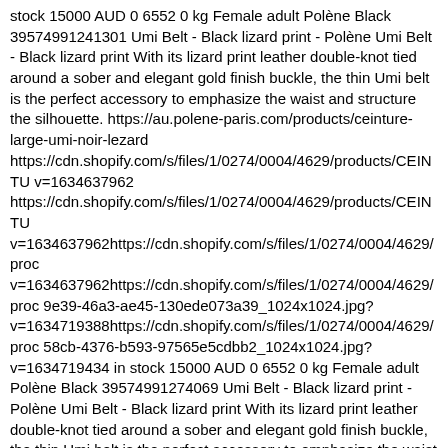stock 15000 AUD 0 6552 0 kg Female adult Polène Black 39574991241301 Umi Belt - Black lizard print - Polène Umi Belt - Black lizard print With its lizard print leather double-knot tied around a sober and elegant gold finish buckle, the thin Umi belt is the perfect accessory to emphasize the waist and structure the silhouette. https://au.polene-paris.com/products/ceinture-large-umi-noir-lezard https://cdn.shopify.com/s/files/1/0274/0004/4629/products/CEINTU v=1634637962 https://cdn.shopify.com/s/files/1/0274/0004/4629/products/CEINTU v=1634637962https://cdn.shopify.com/s/files/1/0274/0004/4629/proc v=1634637962https://cdn.shopify.com/s/files/1/0274/0004/4629/proc 9e39-46a3-ae45-130ede073a39_1024x1024.jpg?v=1634719388https://cdn.shopify.com/s/files/1/0274/0004/4629/proc 58cb-4376-b593-97565e5cdbb2_1024x1024.jpg?v=1634719434 in stock 15000 AUD 0 6552 0 kg Female adult Polène Black 39574991274069 Umi Belt - Black lizard print - Polène Umi Belt - Black lizard print With its lizard print leather double-knot tied around a sober and elegant gold finish buckle, the thin Umi belt is the perfect accessory to emphasize the waist and structure the silhouette. https://au.polene-paris.com/products/ceinture-large-umi-noir-lezard https://cdn.shopify.com/s/files/1/0274/0004/4629/products/CEINTU v=1634637962 https://cdn.shopify.com/s/files/1/0274/0004/4629/products/CEINTU